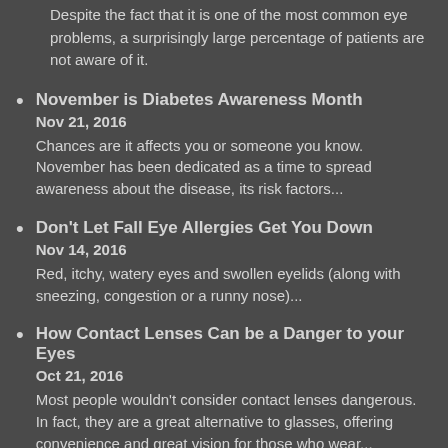Despite the fact that it is one of the most common eye problems, a surprisingly large percentage of patients are not aware of it.
November is Diabetes Awareness Month
Nov 21, 2016
Chances are it affects you or someone you know. November has been dedicated as a time to spread awareness about the disease, its risk factors...
Don’t Let Fall Eye Allergies Get You Down
Nov 14, 2016
Red, itchy, watery eyes and swollen eyelids (along with sneezing, congestion or a runny nose)...
How Contact Lenses Can be a Danger to your Eyes
Oct 21, 2016
Most people wouldn’t consider contact lenses dangerous. In fact, they are a great alternative to glasses, offering convenience and great vision for those who wear...
An Active and Eye Safe Lifestyle